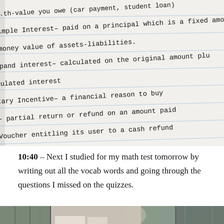[Figure (photo): Photograph of handwritten notes on lined paper showing financial vocabulary definitions including Simple Interest, Compound Interest, Monetary Incentive, and Voucher/Rebate terms, shot at an angle.]
10:40 – Next I studied for my math test tomorrow by writing out all the vocab words and going through the questions I missed on the quizzes.
[Figure (photo): Partial photograph of books/study materials on a shelf or desk, cropped at the bottom of the page.]